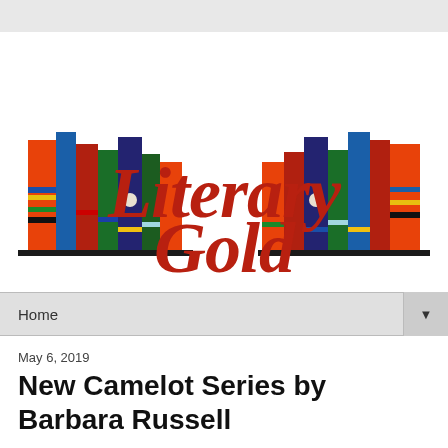[Figure (logo): Literary Gold blog logo with two stacks of colorful books on either side and red cursive text reading 'Literary Gold' in the center]
Home
May 6, 2019
New Camelot Series by Barbara Russell